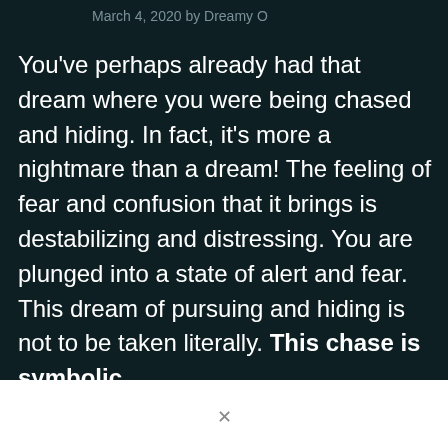March 4, 2020 by Dreamy O
You've perhaps already had that dream where you were being chased and hiding. In fact, it's more a nightmare than a dream! The feeling of fear and confusion that it brings is destabilizing and distressing. You are plunged into a state of alert and fear. This dream of pursuing and hiding is not to be taken literally. This chase is symbolic.
In order to interpret the dream of being chased and hiding, one need to look at the details of the dream. Did you know